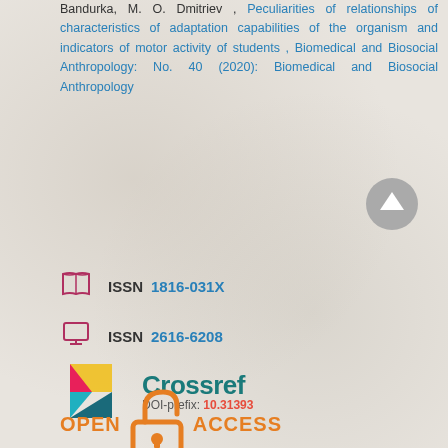Bandurka, M. O. Dmitriev , Peculiarities of relationships of characteristics of adaptation capabilities of the organism and indicators of motor activity of students , Biomedical and Biosocial Anthropology: No. 40 (2020): Biomedical and Biosocial Anthropology
[Figure (other): Gray circular up-arrow navigation button]
ISSN 1816-031X
ISSN 2616-6208
[Figure (logo): Crossref logo with colorful geometric shapes and text 'Crossref', DOI-prefix: 10.31393]
[Figure (logo): Open Access logo with orange open padlock icon and text OPEN ACCESS]